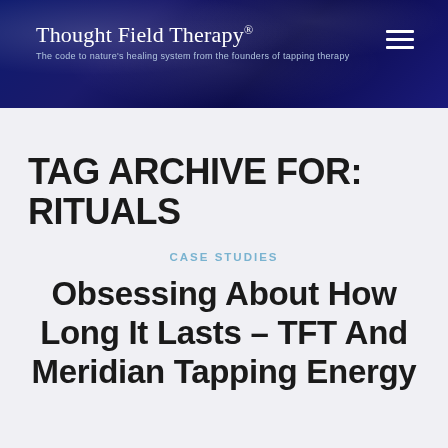Thought Field Therapy® — The code to nature's healing system from the founders of tapping therapy
TAG ARCHIVE FOR: RITUALS
CASE STUDIES
Obsessing About How Long It Lasts – TFT And Meridian Tapping Energy